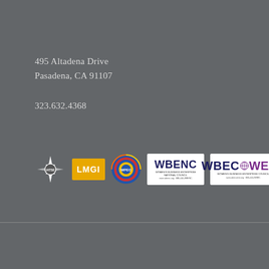495 Altadena Drive
Pasadena, CA 91107
323.632.4368
[Figure (logo): Row of five logos: IATSE (white starburst/cross emblem), LMGI (yellow rectangle with white bold text 'LMGI'), circular colorful badge logo, WBENC (Women's Business Enterprise National Council white rectangle logo), WBEC WEST (Women's Business Enterprise Council West white rectangle logo)]
Blog at WordPress.com.